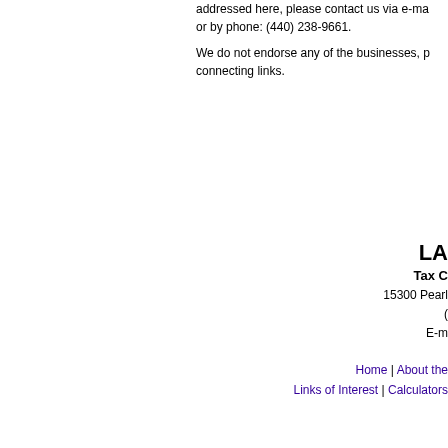addressed here, please contact us via e-mail or by phone: (440) 238-9661.
We do not endorse any of the businesses, products or services that may be accessible by using the connecting links.
LA
Tax C
15300 Pearl
(
E-m
Home | About the | Links of Interest | Calculators